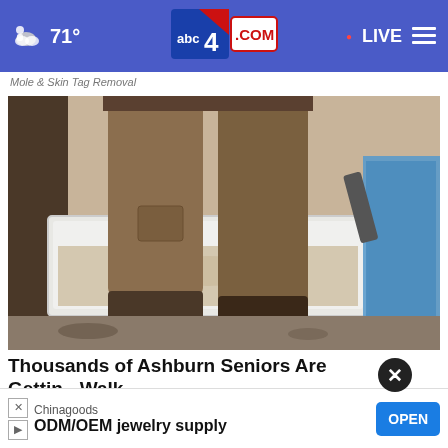71° abc4.com LIVE
Mole & Skin Tag Removal
[Figure (photo): Person in brown pants standing next to a white bathtub during renovation/construction work, with blue plastic sheeting visible on the right]
Thousands of Ashburn Seniors Are Getting Walk-in T…
Smart…
Chinagoods
ODM/OEM jewelry supply
OPEN